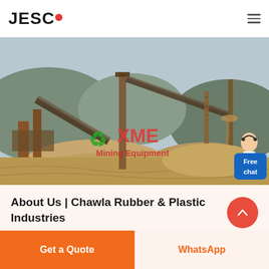JESCO
[Figure (photo): Outdoor mining/quarry site with industrial conveyor belts, machinery, and piles of sand and gravel. An XME Mining Equipment watermark/logo is overlaid in green and red on the image. A 'Free chat' button appears in the lower right of the image with a customer service representative illustration.]
About Us | Chawla Rubber & Plastic Industries
Get a Quote
WhatsApp